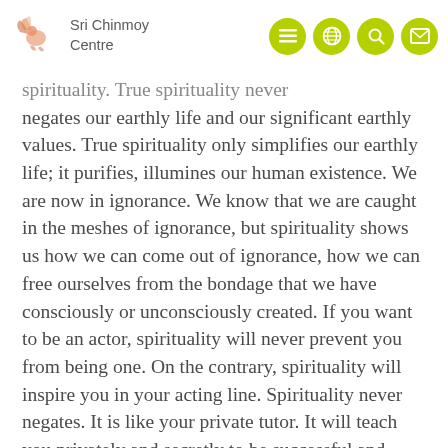Sri Chinmoy Centre
spirituality. True spirituality never negates our earthly life and our significant earthly values. True spirituality only simplifies our earthly life; it purifies, illumines our human existence. We are now in ignorance. We know that we are caught in the meshes of ignorance, but spirituality shows us how we can come out of ignorance, how we can free ourselves from the bondage that we have consciously or unconsciously created. If you want to be an actor, spirituality will never prevent you from being one. On the contrary, spirituality will inspire you in your acting line. Spirituality never negates. It is like your private tutor. It will teach you privately and secretly to be successful and meaningful in your outer, as well as your inner, life. Nothing has to be given up. Everything has to be changed and transformed. If you give up